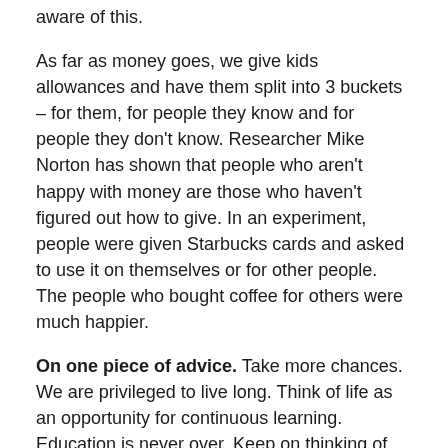aware of this.
As far as money goes, we give kids allowances and have them split into 3 buckets – for them, for people they know and for people they don't know. Researcher Mike Norton has shown that people who aren't happy with money are those who haven't figured out how to give. In an experiment, people were given Starbucks cards and asked to use it on themselves or for other people. The people who bought coffee for others were much happier.
On one piece of advice. Take more chances. We are privileged to live long. Think of life as an opportunity for continuous learning. Education is never over. Keep on thinking of life as what we are going to learn and get better.
On one piece that is in some that we'd like to